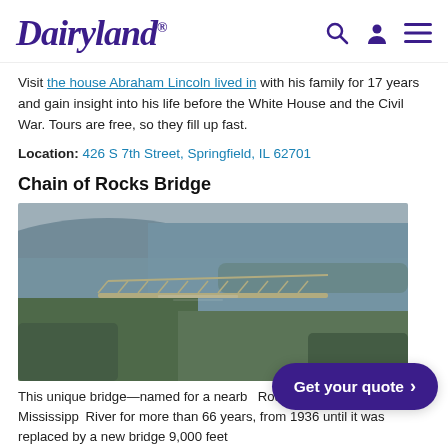Dairyland®
Visit the house Abraham Lincoln lived in with his family for 17 years and gain insight into his life before the White House and the Civil War. Tours are free, so they fill up fast.
Location: 426 S 7th Street, Springfield, IL 62701
Chain of Rocks Bridge
[Figure (photo): Aerial photograph of the Chain of Rocks Bridge spanning the Mississippi River, surrounded by forested banks and water under an overcast sky.]
This unique bridge—named for a nearby Route 66 across the mighty Mississippi River for more than 66 years, from 1936 until it was replaced by a new bridge 9,000 feet...